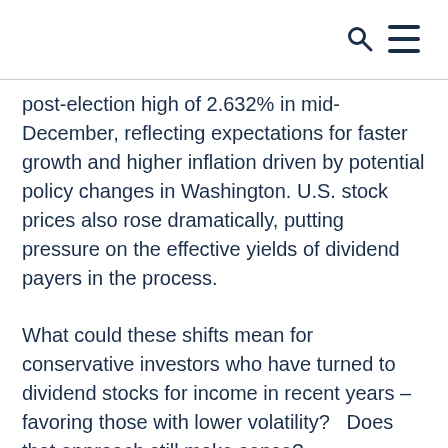post-election high of 2.632% in mid-December, reflecting expectations for faster growth and higher inflation driven by potential policy changes in Washington. U.S. stock prices also rose dramatically, putting pressure on the effective yields of dividend payers in the process.
What could these shifts mean for conservative investors who have turned to dividend stocks for income in recent years – favoring those with lower volatility?   Does that approach still make sense?